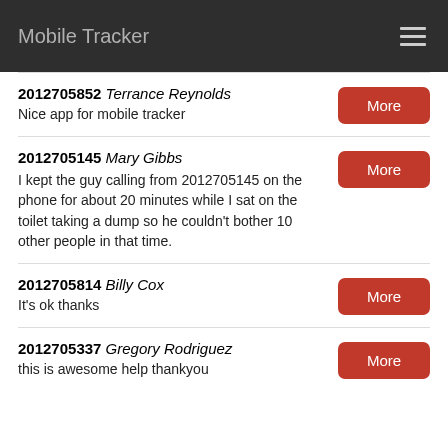Mobile Tracker
2012705852 Terrance Reynolds
Nice app for mobile tracker
2012705145 Mary Gibbs
I kept the guy calling from 2012705145 on the phone for about 20 minutes while I sat on the toilet taking a dump so he couldn't bother 10 other people in that time.
2012705814 Billy Cox
It's ok thanks
2012705337 Gregory Rodriguez
this is awesome help thankyou